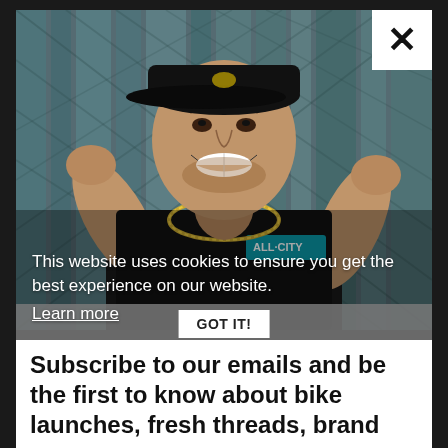[Figure (photo): A smiling man wearing a black cap, black long-sleeve shirt with 'ALL CITY' logo in blue text, and gold chain necklace, posed with fists raised, against a teal/blue patterned background.]
This website uses cookies to ensure you get the best experience on our website.
Learn more
GOT IT!
Subscribe to our emails and be the first to know about bike launches, fresh threads, brand